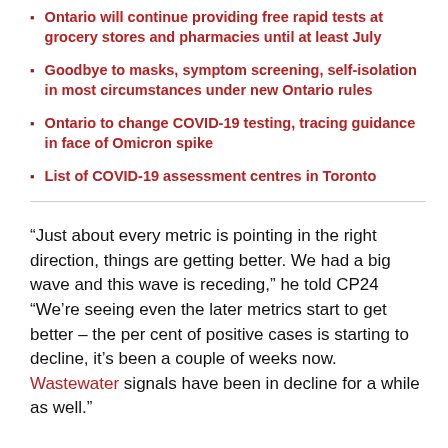Ontario will continue providing free rapid tests at grocery stores and pharmacies until at least July
Goodbye to masks, symptom screening, self-isolation in most circumstances under new Ontario rules
Ontario to change COVID-19 testing, tracing guidance in face of Omicron spike
List of COVID-19 assessment centres in Toronto
“Just about every metric is pointing in the right direction, things are getting better. We had a big wave and this wave is receding,” he told CP24 “We’re seeing even the later metrics start to get better – the per cent of positive cases is starting to decline, it’s been a couple of weeks now. Wastewater signals have been in decline for a while as well.”